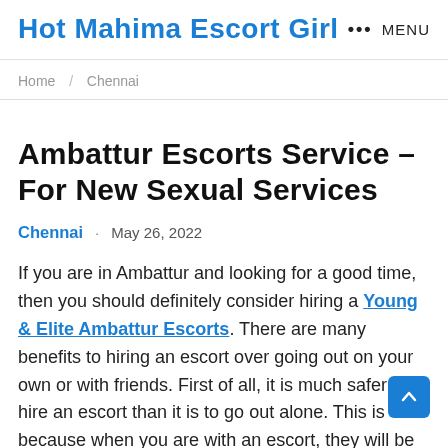Hot Mahima Escort Girl  ••• MENU
Home  /  Chennai
Ambattur Escorts Service – For New Sexual Services
Chennai  •  May 26, 2022
If you are in Ambattur and looking for a good time, then you should definitely consider hiring a Young & Elite Ambattur Escorts. There are many benefits to hiring an escort over going out on your own or with friends. First of all, it is much safer to hire an escort than it is to go out alone. This is because when you are with an escort, they will be